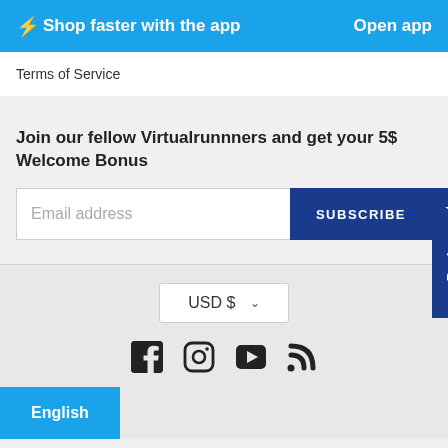⚡ Shop faster with the app   Open app
Terms of Service
Join our fellow Virtualrunnners and get your 5$ Welcome Bonus
Email address   SUBSCRIBE
Reviews
USD $ ∨
[Figure (other): Social media icons: Facebook, Instagram, YouTube, RSS]
English